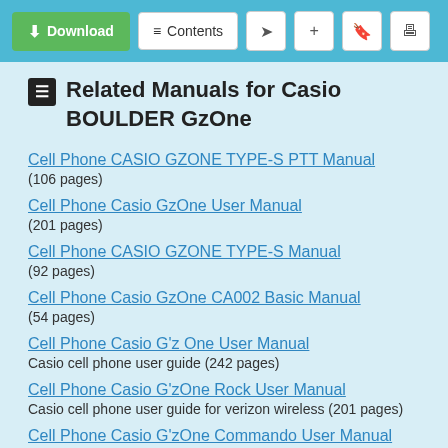[Figure (screenshot): Toolbar with Download, Contents, share, add, bookmark, and print buttons on a blue background]
Related Manuals for Casio BOULDER GzOne
Cell Phone CASIO GZONE TYPE-S PTT Manual
(106 pages)
Cell Phone Casio GzOne User Manual
(201 pages)
Cell Phone CASIO GZONE TYPE-S Manual
(92 pages)
Cell Phone Casio GzOne CA002 Basic Manual
(54 pages)
Cell Phone Casio G'z One User Manual
Casio cell phone user guide (242 pages)
Cell Phone Casio G'zOne Rock User Manual
Casio cell phone user guide for verizon wireless (201 pages)
Cell Phone Casio G'zOne Commando User Manual